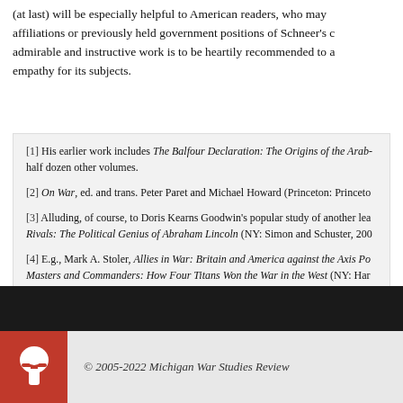(at last) will be especially helpful to American readers, who may be unfamiliar with the affiliations or previously held government positions of Schneer's diverse cast. This admirable and instructive work is to be heartily recommended to all who approach it with empathy for its subjects.
[1] His earlier work includes The Balfour Declaration: The Origins of the Arab-Israeli Conflict and a half dozen other volumes.
[2] On War, ed. and trans. Peter Paret and Michael Howard (Princeton: Princeton University Press, 1984).
[3] Alluding, of course, to Doris Kearns Goodwin's popular study of another leader's war cabinet: Team of Rivals: The Political Genius of Abraham Lincoln (NY: Simon and Schuster, 2005).
[4] E.g., Mark A. Stoler, Allies in War: Britain and America against the Axis Powers, 1940-1945; Masters and Commanders: How Four Titans Won the War in the West (NY: Harper, 2009); America's War Strategists: The Combined Chiefs of Staff in World War II (Annapolis: Naval Institute Press, 2000); No End Save Victory: How FDR Led the Nation into War (NY: Basic Books, 2014).
Purchase Ministers at War
© 2005-2022 Michigan War Studies Review